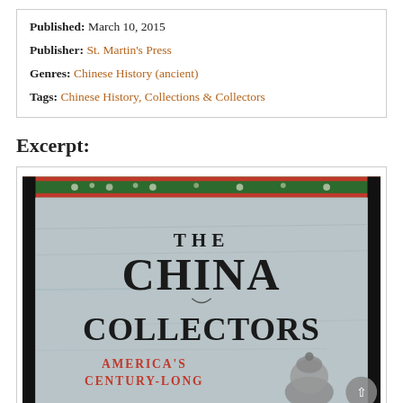Published: March 10, 2015
Publisher: St. Martin's Press
Genres: Chinese History (ancient)
Tags: Chinese History, Collections & Collectors
Excerpt:
[Figure (photo): Book cover of 'The China Collectors: America's Century-Long' showing the title text on a stone-textured background with decorative border at top]